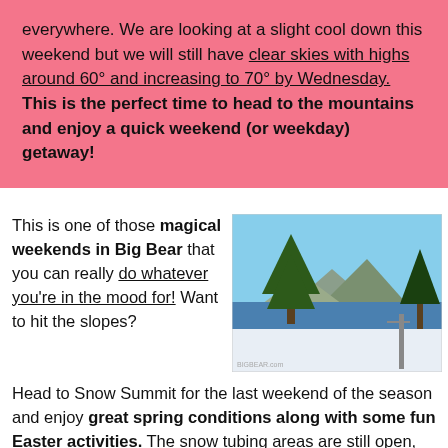everywhere. We are looking at a slight cool down this weekend but we will still have clear skies with highs around 60° and increasing to 70° by Wednesday. This is the perfect time to head to the mountains and enjoy a quick weekend (or weekday) getaway!
This is one of those magical weekends in Big Bear that you can really do whatever you're in the mood for! Want to hit the slopes? Head to Snow Summit for the last weekend of the season and enjoy great spring conditions along with some fun Easter activities. The snow tubing areas are still open, as well. If you'd rather take a hike or bike ride, head on into
[Figure (photo): Scenic view of Big Bear Lake with snow-covered slopes in foreground, pine trees, blue lake and mountains in background under clear blue sky. A ski lift pole is visible on the right side.]